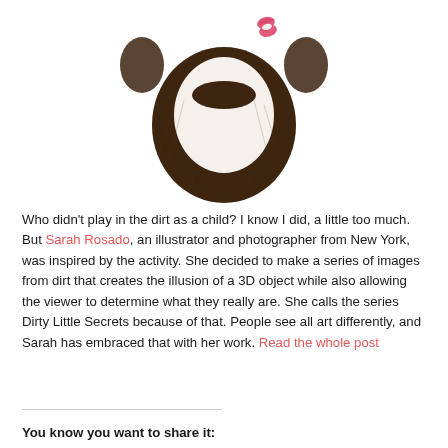[Figure (illustration): A face with beard and mustache made from dirt/soil arranged on white background, with a pink lipstick kiss mark in the upper right area of the face. The beard is made of dark brown soil creating the outline of a man's lower face.]
Who didn't play in the dirt as a child? I know I did, a little too much. But Sarah Rosado, an illustrator and photographer from New York, was inspired by the activity. She decided to make a series of images from dirt that creates the illusion of a 3D object while also allowing the viewer to determine what they really are. She calls the series Dirty Little Secrets because of that. People see all art differently, and Sarah has embraced that with her work. Read the whole post
You know you want to share it: